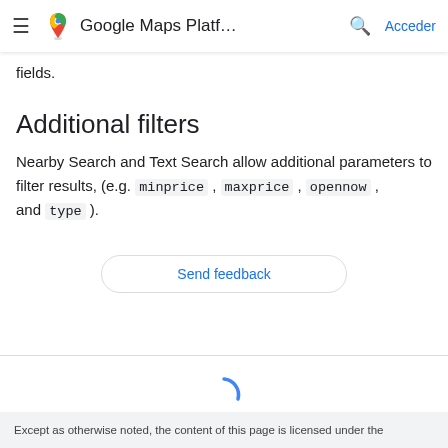≡  Google Maps Platf...  🔍  Acceder
fields.
Additional filters
Nearby Search and Text Search allow additional parameters to filter results, (e.g. minprice , maxprice , opennow , and type ).
[Figure (other): Send feedback button — a rounded rectangle button with blue text 'Send feedback']
[Figure (other): Loading spinner — a partial blue arc indicating content loading below the divider]
Except as otherwise noted, the content of this page is licensed under the